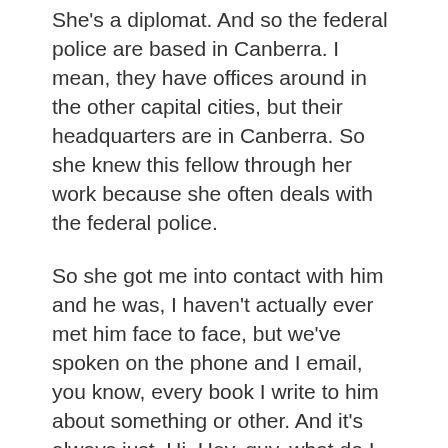She's a diplomat. And so the federal police are based in Canberra. I mean, they have offices around in the other capital cities, but their headquarters are in Canberra. So she knew this fellow through her work because she often deals with the federal police.
So she got me into contact with him and he was, I haven't actually ever met him face to face, but we've spoken on the phone and I email, you know, every book I write to him about something or other. And it's always just, Hi, Hey, guy, what do I do? And blah, blah, blah, what would happen if blah, blah, blah. And he just talks back. He hasn't heard from me for a month or two, and then, you know, and he's just straight back with the answer. So it's really handy.